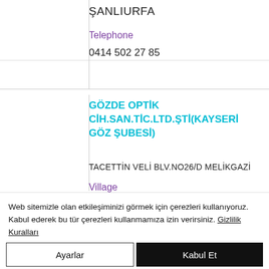ŞANLIURFA
Telephone
0414 502 27 85
GÖZDE OPTİK CİH.SAN.TİC.LTD.ŞTİ(KAYSERİ GÖZ ŞUBESİ)
TACETTİN VELİ BLV.NO26/D MELİKGAZİ
Village
Web sitemizle olan etkileşiminizi görmek için çerezleri kullanıyoruz. Kabul ederek bu tür çerezleri kullanmamıza izin verirsiniz. Gizlilik Kuralları
Ayarlar
Kabul Et